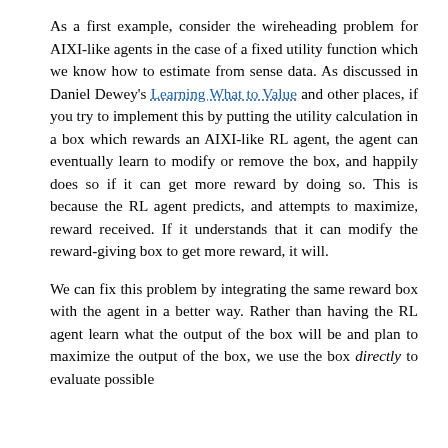As a first example, consider the wireheading problem for AIXI-like agents in the case of a fixed utility function which we know how to estimate from sense data. As discussed in Daniel Dewey's Learning What to Value and other places, if you try to implement this by putting the utility calculation in a box which rewards an AIXI-like RL agent, the agent can eventually learn to modify or remove the box, and happily does so if it can get more reward by doing so. This is because the RL agent predicts, and attempts to maximize, reward received. If it understands that it can modify the reward-giving box to get more reward, it will.

We can fix this problem by integrating the same reward box with the agent in a better way. Rather than having the RL agent learn what the output of the box will be and plan to maximize the output of the box, we use the box directly to evaluate possible